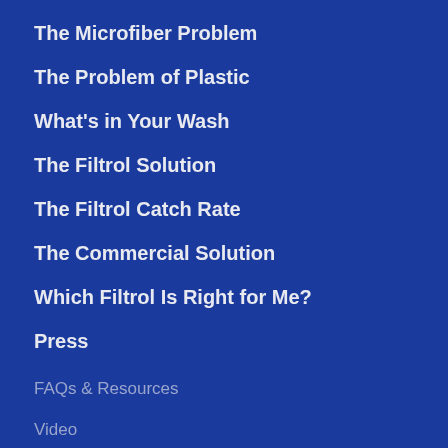The Microfiber Problem
The Problem of Plastic
What's in Your Wash
The Filtrol Solution
The Filtrol Catch Rate
The Commercial Solution
Which Filtrol Is Right for Me?
Press
FAQs & Resources
Video
Blog